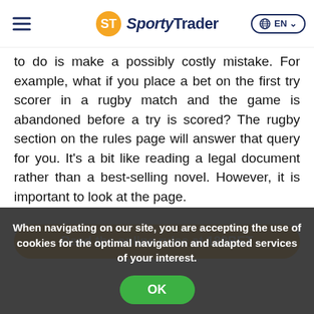SportyTrader EN
to do is make a possibly costly mistake. For example, what if you place a bet on the first try scorer in a rugby match and the game is abandoned before a try is scored? The rugby section on the rules page will answer that query for you. It's a bit like reading a legal document rather than a best-selling novel. However, it is important to look at the page.
Read the online rules at 188BET
When navigating on our site, you are accepting the use of cookies for the optimal navigation and adapted services of your interest.
OK